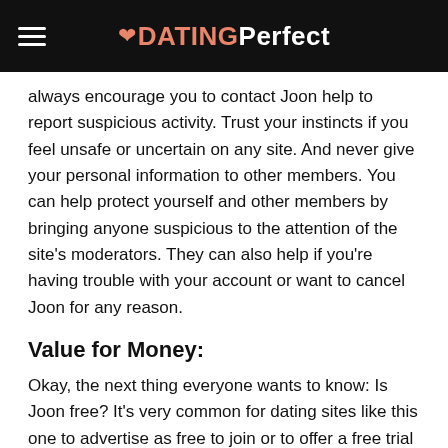DATING Perfect
always encourage you to contact Joon help to report suspicious activity. Trust your instincts if you feel unsafe or uncertain on any site. And never give your personal information to other members. You can help protect yourself and other members by bringing anyone suspicious to the attention of the site’s moderators. They can also help if you’re having trouble with your account or want to cancel Joon for any reason.
Value for Money:
Okay, the next thing everyone wants to know: Is Joon free? It’s very common for dating sites like this one to advertise as free to join or to offer a free trial period. And yes, It’s technically free to join. But most users with a free membership have a hard time getting the most out of the site. If you’re using Joon free, you might find that you have restricted access or limited options